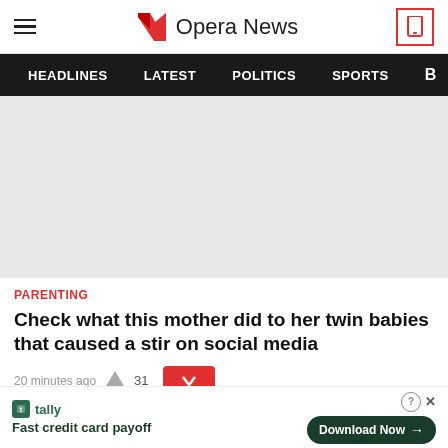Opera News
HEADLINES  LATEST  POLITICS  SPORTS
[Figure (photo): Article image placeholder — light grey rectangle]
PARENTING
Check what this mother did to her twin babies that caused a stir on social media
20 minutes ago  31
Fast credit card payoff
Download Now